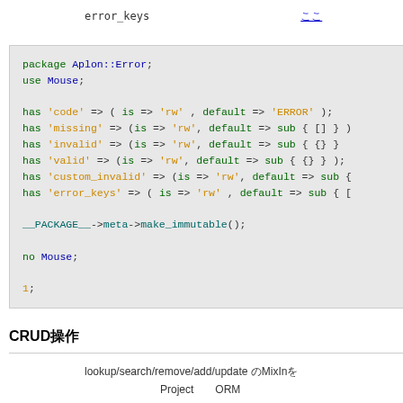error_keys　　　　　　　　　　　　　　ここ
[Figure (screenshot): Perl code block showing package Aplon::Error with Mouse attributes: code, missing, invalid, valid, custom_invalid, error_keys, and __PACKAGE__->meta->make_immutable(); no Mouse; 1;]
CRUD操作
lookup/search/remove/add/update のMixInを
Project　　ORM